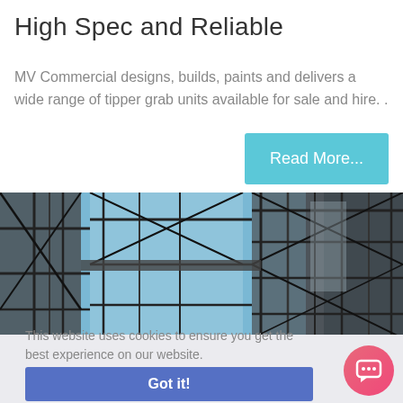High Spec and Reliable
MV Commercial designs, builds, paints and delivers a wide range of tipper grab units available for sale and hire. .
Read More...
[Figure (photo): Looking up at scaffolding and steel frame structure against a blue sky]
This website uses cookies to ensure you get the best experience on our website. Learn more
Got it!
SCAFFOLDING TRUCKS FOR SALE FROM MV COMMERCIAL